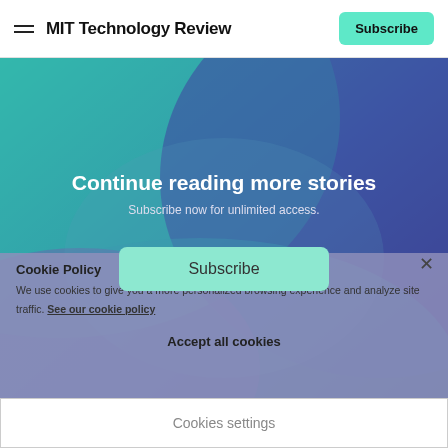MIT Technology Review
[Figure (illustration): Abstract gradient background with teal, blue, and purple geometric shapes forming the hero banner area for MIT Technology Review paywall]
Continue reading more stories
Subscribe now for unlimited access.
Subscribe
Cookie Policy
We use cookies to give you a more personalized browsing experience and analyze site traffic. See our cookie policy
Accept all cookies
Cookies settings